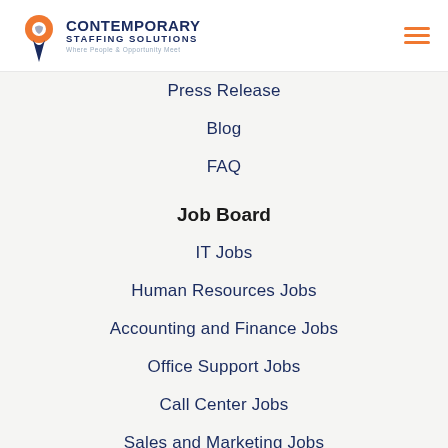Contemporary Staffing Solutions — Where People & Opportunity Meet
Press Release
Blog
FAQ
Job Board
IT Jobs
Human Resources Jobs
Accounting and Finance Jobs
Office Support Jobs
Call Center Jobs
Sales and Marketing Jobs
Salesforce Jobs